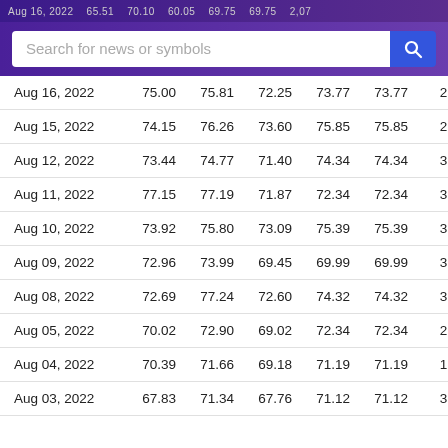Aug 16, 2022  65.51  70.10  60.05  69.75  69.75  2.07
| Date | Open | High | Low | Close | Adj Close | Volume |
| --- | --- | --- | --- | --- | --- | --- |
| Aug 16, 2022 | 75.00 | 75.81 | 72.25 | 73.77 | 73.77 | 2,95 |
| Aug 15, 2022 | 74.15 | 76.26 | 73.60 | 75.85 | 75.85 | 2,42 |
| Aug 12, 2022 | 73.44 | 74.77 | 71.40 | 74.34 | 74.34 | 3,35 |
| Aug 11, 2022 | 77.15 | 77.19 | 71.87 | 72.34 | 72.34 | 3,02 |
| Aug 10, 2022 | 73.92 | 75.80 | 73.09 | 75.39 | 75.39 | 3,21 |
| Aug 09, 2022 | 72.96 | 73.99 | 69.45 | 69.99 | 69.99 | 3,39 |
| Aug 08, 2022 | 72.69 | 77.24 | 72.60 | 74.32 | 74.32 | 3,52 |
| Aug 05, 2022 | 70.02 | 72.90 | 69.02 | 72.34 | 72.34 | 2,54 |
| Aug 04, 2022 | 70.39 | 71.66 | 69.18 | 71.19 | 71.19 | 1,93 |
| Aug 03, 2022 | 67.83 | 71.34 | 67.76 | 71.12 | 71.12 | 3,18 |